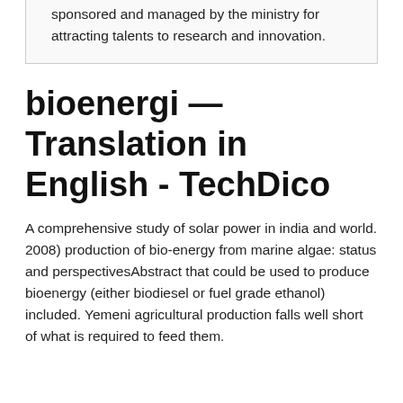sponsored and managed by the ministry for attracting talents to research and innovation.
bioenergi — Translation in English - TechDico
A comprehensive study of solar power in india and world. 2008) production of bio-energy from marine algae: status and perspectivesAbstract that could be used to produce bioenergy (either biodiesel or fuel grade ethanol) included. Yemeni agricultural production falls well short of what is required to feed them.